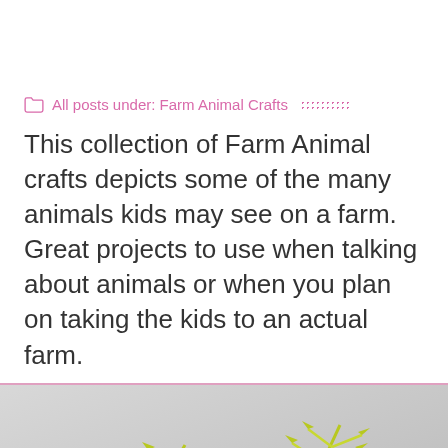All posts under: Farm Animal Crafts
This collection of Farm Animal crafts depicts some of the many animals kids may see on a farm. Great projects to use when talking about animals or when you plan on taking the kids to an actual farm.
[Figure (photo): Photo showing yellow-green feather-like farm animal craft projects on a grey background]